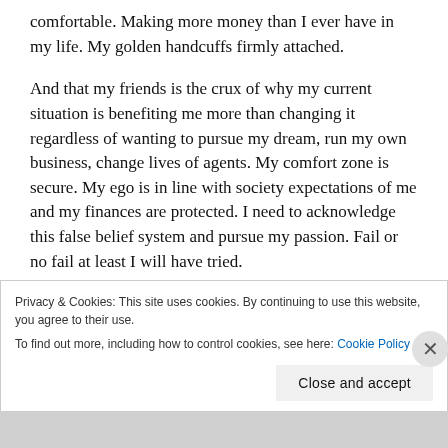comfortable. Making more money than I ever have in my life. My golden handcuffs firmly attached.
And that my friends is the crux of why my current situation is benefiting me more than changing it regardless of wanting to pursue my dream, run my own business, change lives of agents. My comfort zone is secure. My ego is in line with society expectations of me and my finances are protected. I need to acknowledge this false belief system and pursue my passion. Fail or no fail at least I will have tried.
Privacy & Cookies: This site uses cookies. By continuing to use this website, you agree to their use.
To find out more, including how to control cookies, see here: Cookie Policy